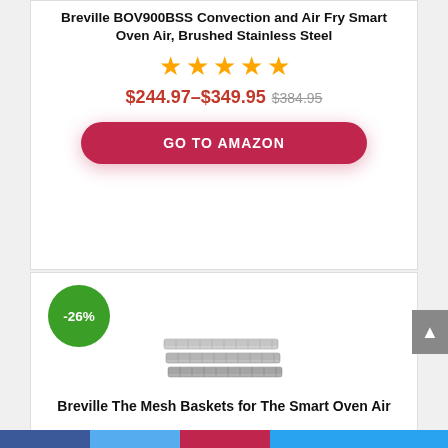Breville BOV900BSS Convection and Air Fry Smart Oven Air, Brushed Stainless Steel
[Figure (other): Five orange star rating icons]
$244.97–$349.95 $384.95
[Figure (other): GO TO AMAZON button - red rounded rectangle]
[Figure (other): -26% green discount badge circle]
[Figure (photo): Product image: stacked mesh baskets for Breville Smart Oven Air]
Breville The Mesh Baskets for The Smart Oven Air